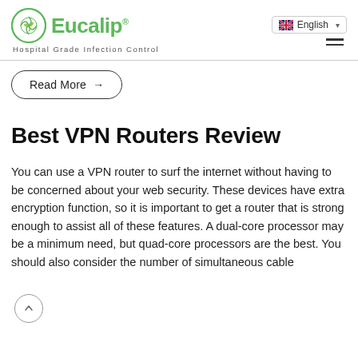Eucalip® Hospital Grade Infection Control — English navigation
Read More →
Best VPN Routers Review
You can use a VPN router to surf the internet without having to be concerned about your web security. These devices have extra encryption function, so it is important to get a router that is strong enough to assist all of these features. A dual-core processor may be a minimum need, but quad-core processors are the best. You should also consider the number of simultaneous cable